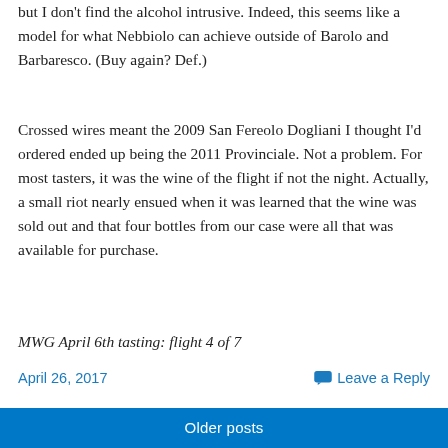but I don't find the alcohol intrusive. Indeed, this seems like a model for what Nebbiolo can achieve outside of Barolo and Barbaresco. (Buy again? Def.)
Crossed wires meant the 2009 San Fereolo Dogliani I thought I'd ordered ended up being the 2011 Provinciale. Not a problem. For most tasters, it was the wine of the flight if not the night. Actually, a small riot nearly ensued when it was learned that the wine was sold out and that four bottles from our case were all that was available for purchase.
MWG April 6th tasting: flight 4 of 7
April 26, 2017
Leave a Reply
Older posts